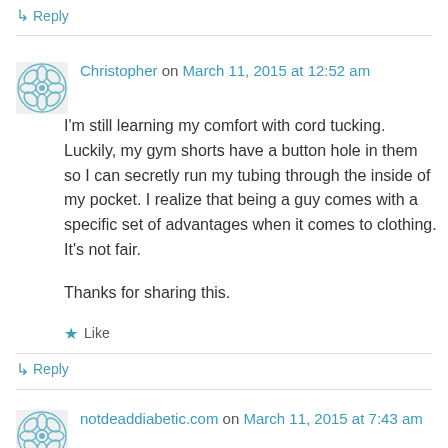↳ Reply
Christopher on March 11, 2015 at 12:52 am
I'm still learning my comfort with cord tucking. Luckily, my gym shorts have a button hole in them so I can secretly run my tubing through the inside of my pocket. I realize that being a guy comes with a specific set of advantages when it comes to clothing. It's not fair.

Thanks for sharing this.
★ Like
↳ Reply
notdeaddiabetic.com on March 11, 2015 at 7:43 am